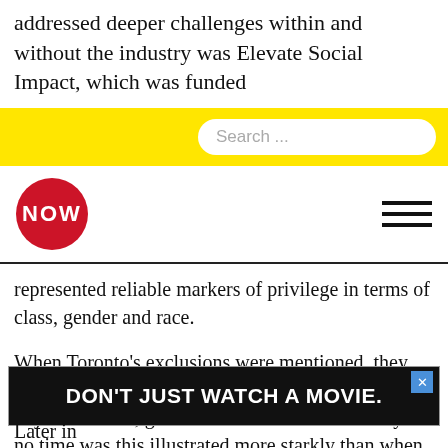addressed deeper challenges within and without the industry was Elevate Social Impact, which was funded
[Figure (screenshot): Yellow search bar with white rounded search input field showing placeholder text 'Search ...']
[Figure (logo): NOW magazine logo - red circle with white NOW text, and hamburger menu icon on the right]
represented reliable markers of privilege in terms of class, gender and race.
When Toronto’s exclusions were mentioned, they only seemed to serve as opportunities to push the city as a kinder, gentler version of Silicon Valley. At no time was this illustrated more starkly than when multi-billionaire Galen G. Weston paced the stage energetically to talk about how Loblaw is championing health and sustainability, absent any acknowledgement of the company’s decades-long price-fixing scam on bread.
[Figure (screenshot): Advertisement banner: black background with white bold uppercase text 'DON'T JUST WATCH A MOVIE.' with a blue X close button in top right corner]
Later in